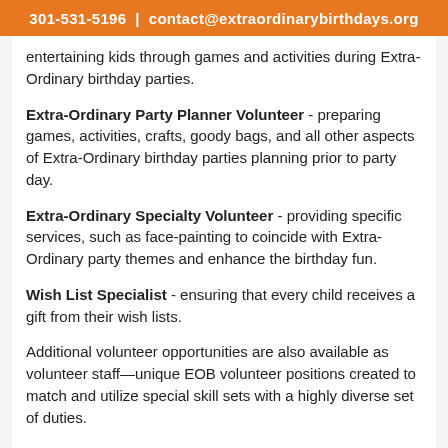301-531-5196  |  contact@extraordinarybirthdays.org
entertaining kids through games and activities during Extra-Ordinary birthday parties.
Extra-Ordinary Party Planner Volunteer - preparing games, activities, crafts, goody bags, and all other aspects of Extra-Ordinary birthday parties planning prior to party day.
Extra-Ordinary Specialty Volunteer - providing specific services, such as face-painting to coincide with Extra-Ordinary party themes and enhance the birthday fun.
Wish List Specialist - ensuring that every child receives a gift from their wish lists.
Additional volunteer opportunities are also available as volunteer staff—unique EOB volunteer positions created to match and utilize special skill sets with a highly diverse set of duties.